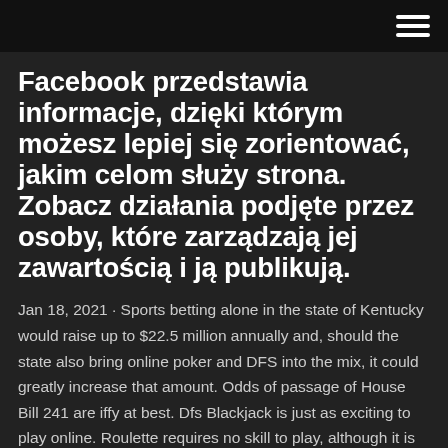Facebook przedstawia informacje, dzięki którym możesz lepiej się zorientować, jakim celom służy strona. Zobacz działania podjęte przez osoby, które zarządzają jej zawartością i ją publikują.
Jan 18, 2021 · Sports betting alone in the state of Kentucky would raise up to $22.5 million annually and, should the state also bring online poker and DFS into the mix, it could greatly increase that amount. Odds of passage of House Bill 241 are iffy at best. Dfs Blackjack is just as exciting to play online. Roulette requires no skill to play, although it is